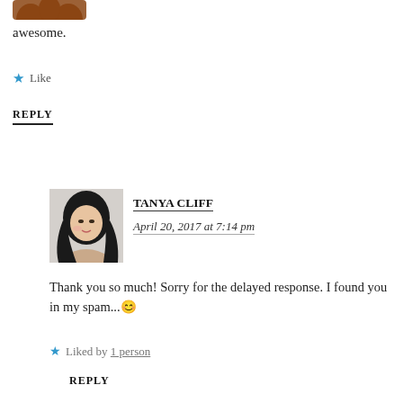[Figure (illustration): Partial avatar icon at top left, brown silhouette shape]
awesome.
★ Like
REPLY
[Figure (photo): Profile photo of Tanya Cliff, a woman with dark hair]
TANYA CLIFF
April 20, 2017 at 7:14 pm
Thank you so much! Sorry for the delayed response. I found you in my spam...😊
★ Liked by 1 person
REPLY